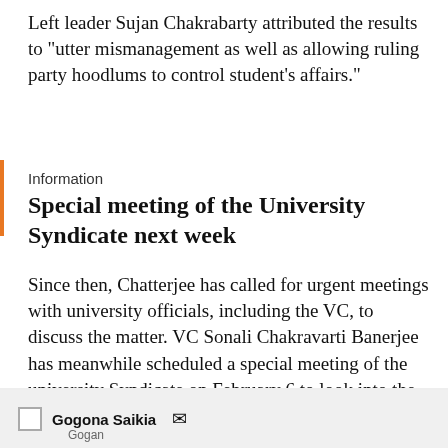Left leader Sujan Chakrabarty attributed the results to "utter mismanagement as well as allowing ruling party hoodlums to control student's affairs."
Information
Special meeting of the University Syndicate next week
Since then, Chatterjee has called for urgent meetings with university officials, including the VC, to discuss the matter. VC Sonali Chakravarti Banerjee has meanwhile scheduled a special meeting of the university Syndicate on February 6 to look into the students' demands.
Share this timeline
[Figure (infographic): Social sharing icons: four circular grey buttons with letters o, x, p, q representing social media platforms]
Gogona Saikia